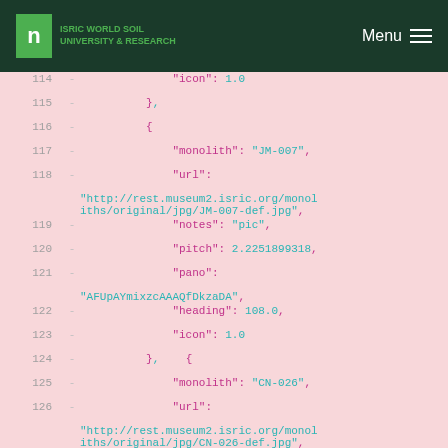ISRIC UNIVERSITY & RESEARCH — Menu
114  -              "icon": 1.0
115  -          },
116  -          {
117  -              "monolith": "JM-007",
118  -              "url": "http://rest.museum2.isric.org/monoliths/original/jpg/JM-007-def.jpg",
119  -              "notes": "pic",
120  -              "pitch": 2.2251899318,
121  -              "pano": "AFUpAYmixzcAAAQfDkzaDA",
122  -              "heading": 108.0,
123  -              "icon": 1.0
124  -          },  {
125  -              "monolith": "CN-026",
126  -              "url": "http://rest.museum2.isric.org/monoliths/original/jpg/CN-026-def.jpg",
127  -              "notes": "pic",
128  -              "pitch": 0.2251899318,